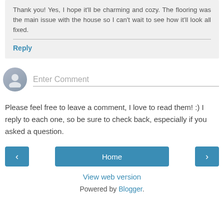Thank you! Yes, I hope it'll be charming and cozy. The flooring was the main issue with the house so I can't wait to see how it'll look all fixed.
Reply
Enter Comment
Please feel free to leave a comment, I love to read them! :) I reply to each one, so be sure to check back, especially if you asked a question.
Home
View web version
Powered by Blogger.